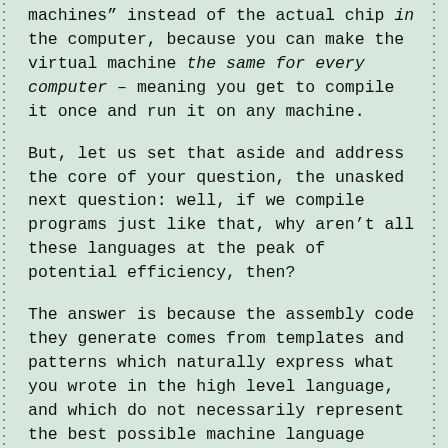machines” instead of the actual chip in the computer, because you can make the virtual machine the same for every computer – meaning you get to compile it once and run it on any machine.
But, let us set that aside and address the core of your question, the unasked next question: well, if we compile programs just like that, why aren’t all these languages at the peak of potential efficiency, then?
The answer is because the assembly code they generate comes from templates and patterns which naturally express what you wrote in the high level language, and which do not necessarily represent the best possible machine language program you could write for the task.
For example, to make a string in assembly (like what Mr Young did at the end of his example):